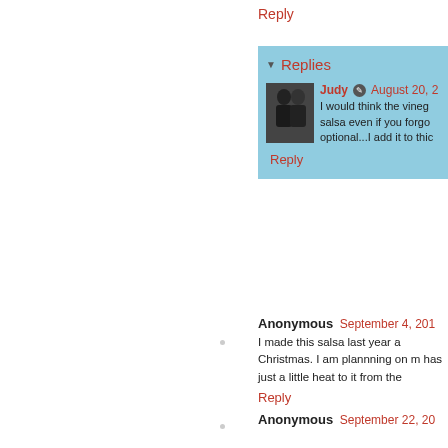Reply
Replies
Judy  August 20, 2
I would think the vineg salsa even if you forgo optional...I add it to thic
Reply
Anonymous  September 4, 201
I made this salsa last year a Christmas. I am plannning on m has just a little heat to it from the
Reply
Anonymous  September 22, 20
I was going to...